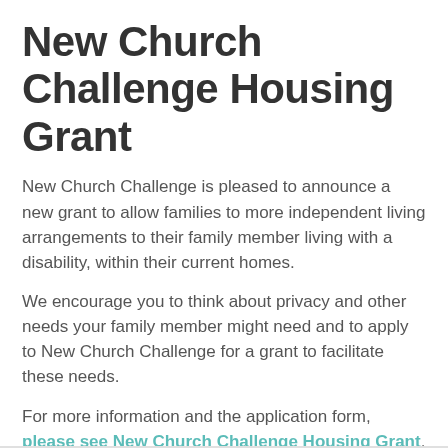New Church Challenge Housing Grant
New Church Challenge is pleased to announce a new grant to allow families to more independent living arrangements to their family member living with a disability, within their current homes.
We encourage you to think about privacy and other needs your family member might need and to apply to New Church Challenge for a grant to facilitate these needs.
For more information and the application form, please see New Church Challenge Housing Grant.